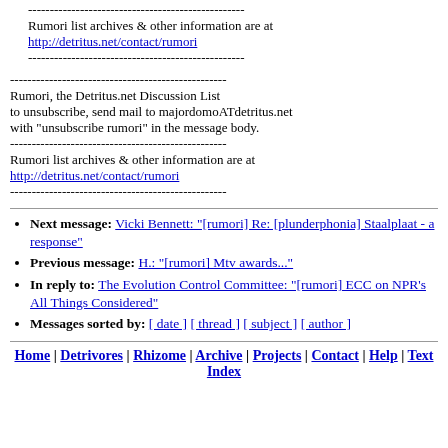--------------------------------------------------
Rumori list archives & other information are at
http://detritus.net/contact/rumori
--------------------------------------------------
--------------------------------------------------
Rumori, the Detritus.net Discussion List
to unsubscribe, send mail to majordomoATdetritus.net
with "unsubscribe rumori" in the message body.
--------------------------------------------------
Rumori list archives & other information are at
http://detritus.net/contact/rumori
--------------------------------------------------
Next message: Vicki Bennett: "[rumori] Re: [plunderphonia] Staalplaat - a response"
Previous message: H.: "[rumori] Mtv awards..."
In reply to: The Evolution Control Committee: "[rumori] ECC on NPR's All Things Considered"
Messages sorted by: [ date ] [ thread ] [ subject ] [ author ]
Home | Detrivores | Rhizome | Archive | Projects | Contact | Help | Text Index